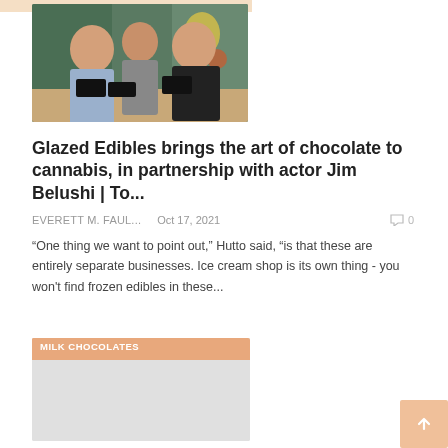[Figure (photo): Three people posing together, holding dark boxes/packages, against a colorful mural background]
Glazed Edibles brings the art of chocolate to cannabis, in partnership with actor Jim Belushi | To...
EVERETT M. FAUL...   Oct 17, 2021   💬 0
“One thing we want to point out,” Hutto said, “is that these are entirely separate businesses. Ice cream shop is its own thing - you won't find frozen edibles in these...
[Figure (photo): Image with MILK CHOCOLATES label overlay, light gray placeholder image]
MILK CHOCOLATES